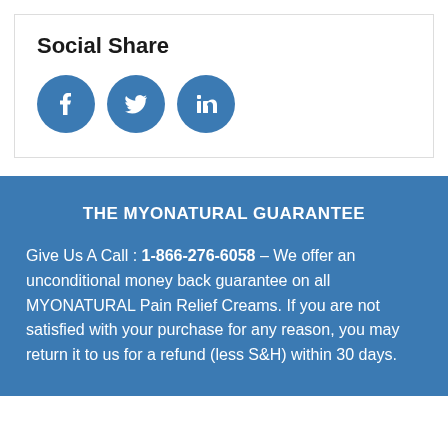Social Share
[Figure (illustration): Three social media share buttons: Facebook, Twitter, and LinkedIn, displayed as blue circles with white icons.]
THE MYONATURAL GUARANTEE
Give Us A Call : 1-866-276-6058 – We offer an unconditional money back guarantee on all MYONATURAL Pain Relief Creams. If you are not satisfied with your purchase for any reason, you may return it to us for a refund (less S&H) within 30 days.